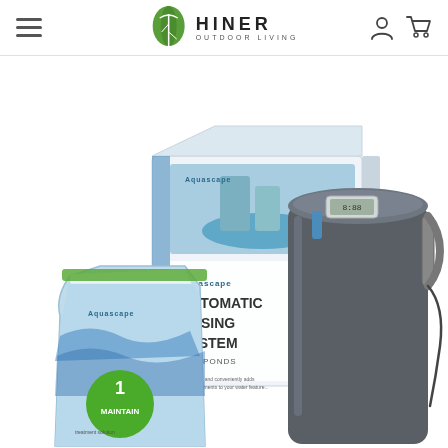Hiner Outdoor Living — navigation header with logo, hamburger menu, user icon, and cart icon
[Figure (photo): Product photo showing the Aquascape Automatic Dosing System for Ponds: a product box labeled 'AUTOMATIC DOSING SYSTEM FOR PONDS', a large dark grey cylindrical device with digital display and blue accents, and a flexible pouch labeled 'MAINTAIN' with a green circle and number 1, on a white background.]